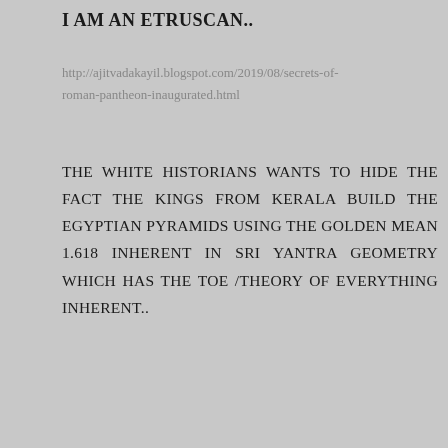I AM AN ETRUSCAN..
http://ajitvadakayil.blogspot.com/2019/08/secrets-of-roman-pantheon-inaugurated.html
THE WHITE HISTORIANS WANTS TO HIDE THE FACT THE KINGS FROM KERALA BUILD THE EGYPTIAN PYRAMIDS USING THE GOLDEN MEAN 1.618 INHERENT IN SRI YANTRA GEOMETRY WHICH HAS THE TOE /THEORY OF EVERYTHING INHERENT..